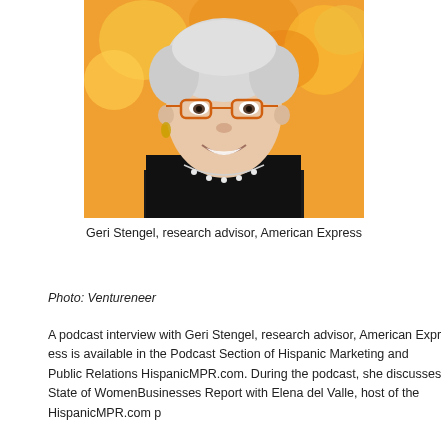[Figure (photo): Portrait photo of Geri Stengel, an older woman with short white hair and orange-rimmed glasses, wearing a black lace jacket and pearl necklace, smiling, with blurred orange and yellow flowers in the background.]
Geri Stengel, research advisor, American Express
Photo: Ventureneer
A podcast interview with Geri Stengel, research advisor, American Express available in the Podcast Section of Hispanic Marketing and Public Relations HispanicMPR.com. During the podcast, she discusses State of Women Businesses Report with Elena del Valle, host of the HispanicMPR.com p